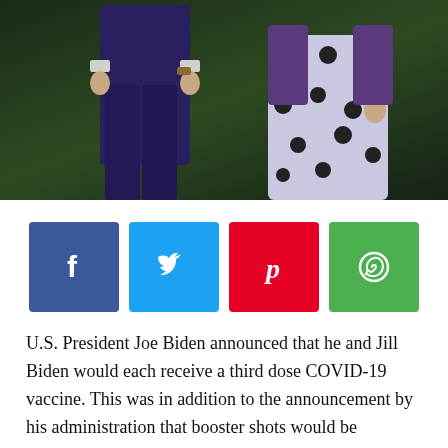[Figure (photo): Two people walking outdoors on grass, one in a dark suit on the left, one in a patterned blue/white dress on the right. Only lower bodies and hands are visible.]
[Figure (infographic): Row of four social media share buttons: Facebook (blue), Twitter (light blue), Pinterest (red), WhatsApp (green)]
U.S. President Joe Biden announced that he and Jill Biden would each receive a third dose COVID-19 vaccine. This was in addition to the announcement by his administration that booster shots would be available to Americans starting September.
“We will get the booster shots,” Biden said in an interview with ABC News on Thursday.
On Wednesday, his comments were recorded as health